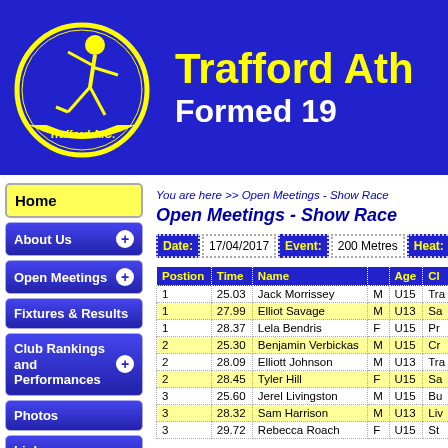[Figure (logo): Trafford AC logo: yellow stick figure inside a yellow circle on blue background, with 'Trafford A.C.' text in the circle banner]
Trafford Ath
Formed 19
Home
About Us
Open Meetings
Fixtures & Results
Club Rankings and Performances
Photos
Links
Stadium Events
External News
You are here >> Open Meetings - Show Race
Open Meetings - Show Race
Date: 17/04/2017  Event: 200 Metres  Heat:
| Postion | Time | Name |  | Age | Cl |
| --- | --- | --- | --- | --- | --- |
| 1 | 25.03 | Jack Morrissey | M | U15 | Tra |
| 1 | 27.99 | Elliot Savage | M | U13 | Sa |
| 1 | 28.37 | Lela Bendris | F | U15 | Pr |
| 2 | 25.30 | Benjamin Verbickas | M | U15 | Cr |
| 2 | 28.09 | Elliott Johnson | M | U13 | Tra |
| 2 | 28.45 | Tyler Hill | F | U15 | Sa |
| 3 | 25.60 | Jerel Livingston | M | U15 | Bu |
| 3 | 28.32 | Sam Harrison | M | U13 | Liv |
| 3 | 29.72 | Rebecca Roach | F | U15 | St |